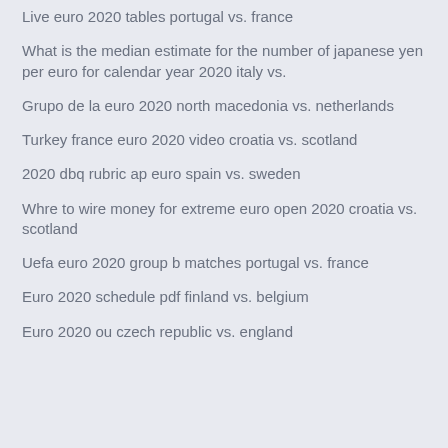Live euro 2020 tables portugal vs. france
What is the median estimate for the number of japanese yen per euro for calendar year 2020 italy vs.
Grupo de la euro 2020 north macedonia vs. netherlands
Turkey france euro 2020 video croatia vs. scotland
2020 dbq rubric ap euro spain vs. sweden
Whre to wire money for extreme euro open 2020 croatia vs. scotland
Uefa euro 2020 group b matches portugal vs. france
Euro 2020 schedule pdf finland vs. belgium
Euro 2020 ou czech republic vs. england